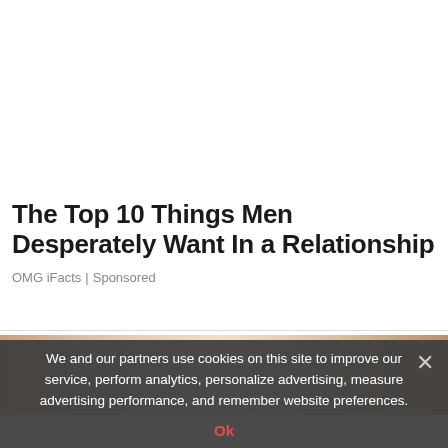The Top 10 Things Men Desperately Want In a Relationship
OMG iFacts | Sponsored
[Figure (photo): Close-up photo showing hands and partial face with warm beige/skin tones]
We and our partners use cookies on this site to improve our service, perform analytics, personalize advertising, measure advertising performance, and remember website preferences.
Ok